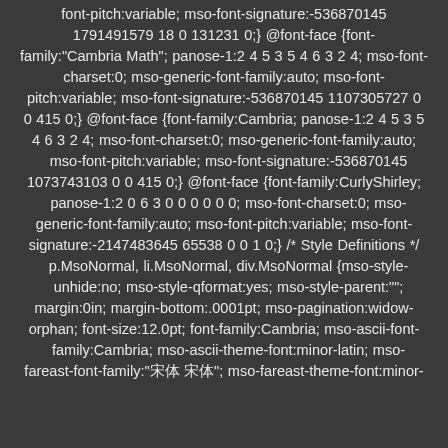font-pitch:variable; mso-font-signature:-536870145 1791491579 18 0 131231 0;} @font-face {font-family:"Cambria Math"; panose-1:2 4 5 3 5 4 6 3 2 4; mso-font-charset:0; mso-generic-font-family:auto; mso-font-pitch:variable; mso-font-signature:-536870145 1107305727 0 0 415 0;} @font-face {font-family:Cambria; panose-1:2 4 5 3 5 4 6 3 2 4; mso-font-charset:0; mso-generic-font-family:auto; mso-font-pitch:variable; mso-font-signature:-536870145 1073743103 0 0 415 0;} @font-face {font-family:CurlyShirley; panose-1:2 0 6 3 0 0 0 0 0 0; mso-font-charset:0; mso-generic-font-family:auto; mso-font-pitch:variable; mso-font-signature:-2147483645 65538 0 0 1 0;} /* Style Definitions */ p.MsoNormal, li.MsoNormal, div.MsoNormal {mso-style-unhide:no; mso-style-qformat:yes; mso-style-parent:""; margin:0in; margin-bottom:.0001pt; mso-pagination:widow-orphan; font-size:12.0pt; font-family:Cambria; mso-ascii-font-family:Cambria; mso-ascii-theme-font:minor-latin; mso-fareast-font-family:"宋体"; mso-fareast-theme-font:minor-